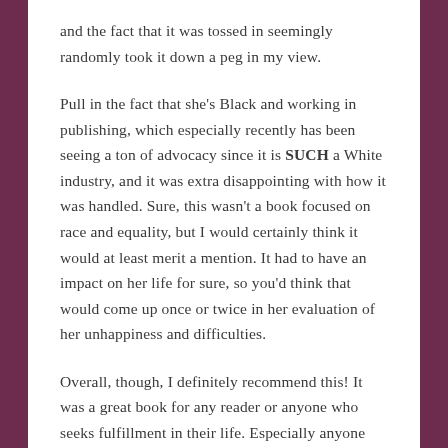and the fact that it was tossed in seemingly randomly took it down a peg in my view.
Pull in the fact that she's Black and working in publishing, which especially recently has been seeing a ton of advocacy since it is SUCH a White industry, and it was extra disappointing with how it was handled. Sure, this wasn't a book focused on race and equality, but I would certainly think it would at least merit a mention. It had to have an impact on her life for sure, so you'd think that would come up once or twice in her evaluation of her unhappiness and difficulties.
Overall, though, I definitely recommend this! It was a great book for any reader or anyone who seeks fulfillment in their life. Especially anyone who hates or...